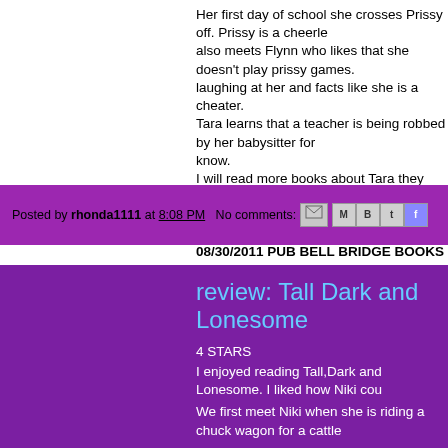Her first day of school she crosses Prissy off. Prissy is a cheerleader she also meets Flynn who likes that she doesn't play prissy games. laughing at her and facts like she is a cheater. Tara learns that a teacher is being robbed by her babysitter for know. I will read more books about Tara they were funny and she always was right. I was given this ebook in exchange for honest review. 08/30/2011 PUB BELL BRIDGE BOOKS
Posted by rhonda1111 at 8:08 PM   No comments:
review: Tall Dark and Lonesome
4 STARS
I enjoyed reading Tall,Dark and Lonesome. I liked how Niki cou... We first meet Niki when she is riding a chuck wagon for a cattle... editor signed her up for in Wyoming. Niki was actually from this... been back in 8 years for quick visits. She was late arriving so she got first dab at the chuckwagon bu... mud. She was trying to get it out when she fell in the mud and s... laughing when Zach first met her. Zach did not tell her he was the trailboss or ranch owner or one...